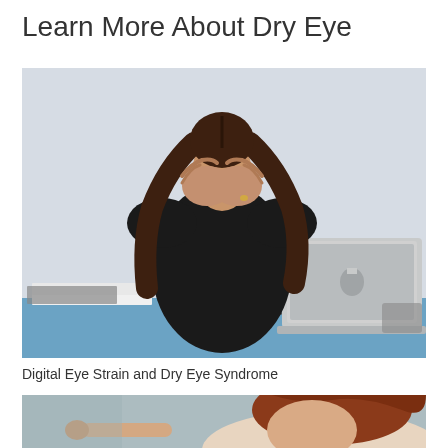Learn More About Dry Eye
[Figure (photo): Woman in black clothing sitting at a desk with a MacBook laptop, covering her face with both hands, with glasses and papers on the desk in front of her, suggesting eye strain or headache.]
Digital Eye Strain and Dry Eye Syndrome
[Figure (photo): Partial view of a person with red hair, appearing to apply eye drops or touch near their eye, with a blurred background.]